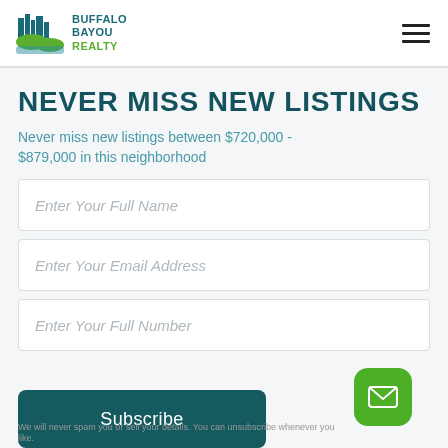Buffalo Bayou Realty
NEVER MISS NEW LISTINGS
Never miss new listings between $720,000 - $879,000 in this neighborhood
Enter Your Full Name
Enter Your Email Address
Enter Your Full Number
Subscribe
We will never spam you or sell your details. You can unsubscribe whenever you like.